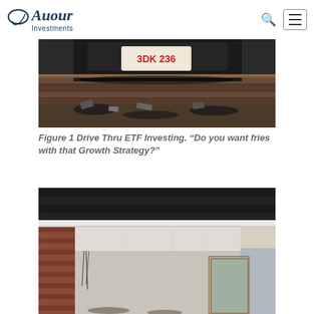Auour Investments
[Figure (photo): Photo of a car that has crashed through a wall, showing the license plate '3DK 236', debris and burned material on the ground beneath the vehicle.]
Figure 1 Drive Thru ETF Investing. “Do you want fries with that Growth Strategy?”
[Figure (photo): Photo of a building interior/exterior showing structural damage — exposed brickwork, damaged ceiling, and interior rooms visible through the damaged wall.]